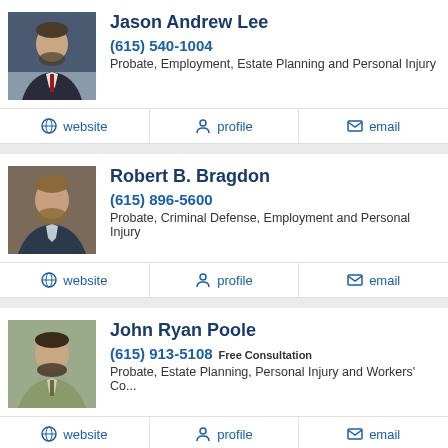[Figure (photo): Headshot of Jason Andrew Lee, professional photo of man in suit]
Jason Andrew Lee
(615) 540-1004
Probate, Employment, Estate Planning and Personal Injury
website  profile  email
[Figure (photo): Headshot of Robert B. Bragdon, man with beard]
Robert B. Bragdon
(615) 896-5600
Probate, Criminal Defense, Employment and Personal Injury
website  profile  email
[Figure (photo): Headshot of John Ryan Poole, man with beard in suit]
John Ryan Poole
(615) 913-5108 Free Consultation
Probate, Estate Planning, Personal Injury and Workers' Co...
website  profile  email